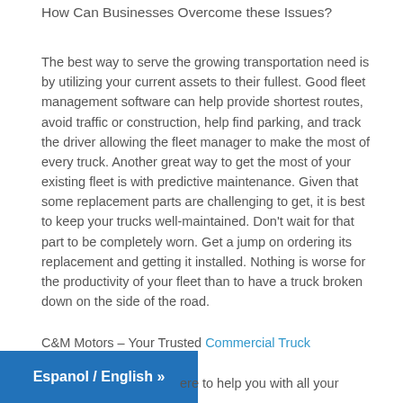How Can Businesses Overcome these Issues?
The best way to serve the growing transportation need is by utilizing your current assets to their fullest. Good fleet management software can help provide shortest routes, avoid traffic or construction, help find parking, and track the driver allowing the fleet manager to make the most of every truck. Another great way to get the most of your existing fleet is with predictive maintenance. Given that some replacement parts are challenging to get, it is best to keep your trucks well-maintained. Don't wait for that part to be completely worn. Get a jump on ordering its replacement and getting it installed. Nothing is worse for the productivity of your fleet than to have a truck broken down on the side of the road.
C&M Motors – Your Trusted Commercial Truck Dealership
ere to help you with all your
[Figure (other): Blue button with text 'Espanol / English »']